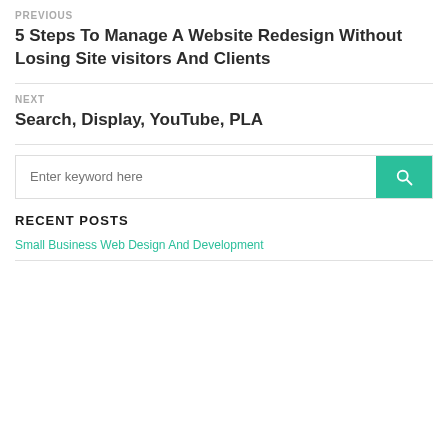PREVIOUS
5 Steps To Manage A Website Redesign Without Losing Site visitors And Clients
NEXT
Search, Display, YouTube, PLA
[Figure (other): Search box with placeholder text 'Enter keyword here' and a teal search button with magnifying glass icon]
RECENT POSTS
Small Business Web Design And Development